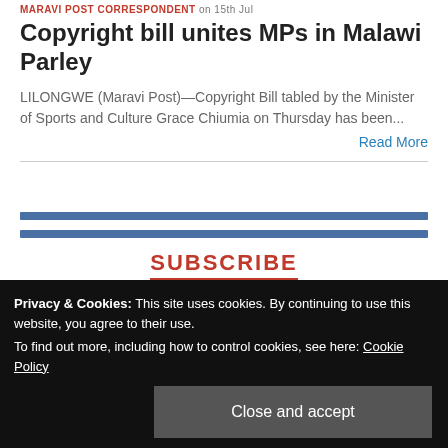MARAVI POST CORRESPONDENT on 15th Jul
Copyright bill unites MPs in Malawi Parley
LILONGWE (Maravi Post)—Copyright Bill tabled by the Minister of Sports and Culture Grace Chiumia on Thursday has been...
Read More
SUBSCRIBE
Privacy & Cookies: This site uses cookies. By continuing to use this website, you agree to their use.
To find out more, including how to control cookies, see here: Cookie Policy
Close and accept
shapers